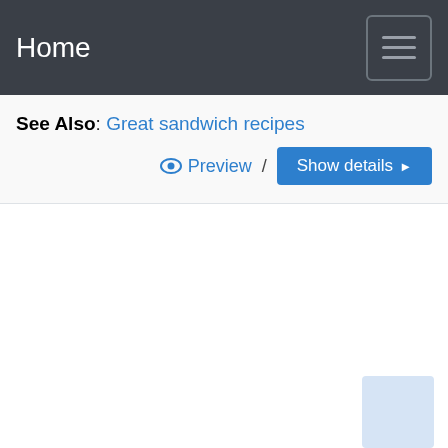Home
See Also: Great sandwich recipes
Preview / Show details